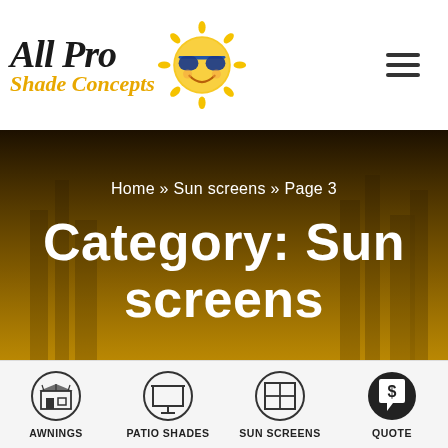[Figure (logo): All Pro Shade Concepts logo with stylized sun character wearing sunglasses]
[Figure (other): Hamburger menu icon (three horizontal lines)]
[Figure (photo): Hero banner with desert skyline silhouette and golden gradient overlay]
Home » Sun screens » Page 3
Category: Sun screens
[Figure (infographic): Bottom navigation bar with four icons: Awnings (store icon), Patio Shades (screen icon), Sun Screens (window icon), Quote (speech bubble with dollar sign)]